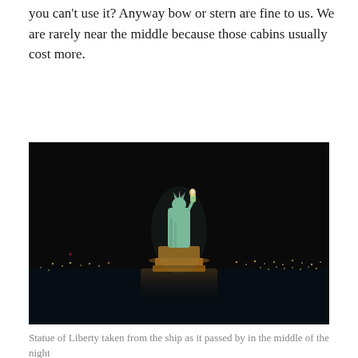you can't use it? Anyway bow or stern are fine to us. We are rarely near the middle because those cabins usually cost more.
[Figure (photo): Nighttime photograph of the Statue of Liberty illuminated against a dark sky, surrounded by dark water with city lights visible in the background.]
Statue of Liberty taken from the ship as it passed by in the middle of the night